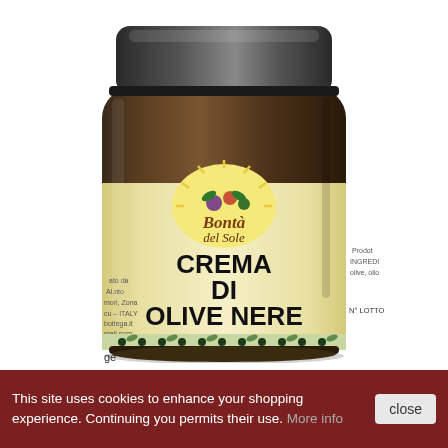[Figure (photo): A glass jar of 'Bontà del Sole' Crema di Olive Nere (black olive cream) with a dark metal lid. The jar has a cream/yellow label featuring the brand logo with a sun and fruit/olive illustrations, with the product name in large bold black text. The label also shows partial text on the sides including ingredients and lot number references.]
This site uses cookies to enhance your shopping experience. Continuing you permits their use. More info